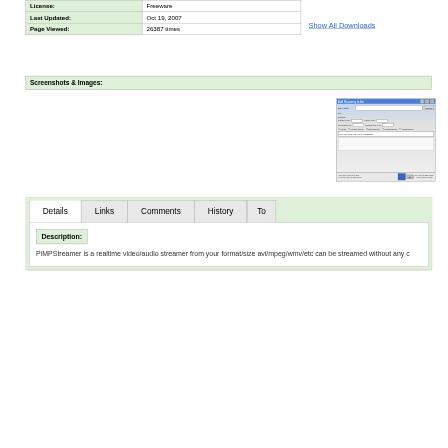| Field | Value |
| --- | --- |
| License: | Freeware |
| Last Updated: | Oct 19, 2007 |
| Page Viewed: | 26387 times |
Show All Downloads
Screenshots & Images:
[Figure (screenshot): Screenshot of a software application dialog window with form fields, input boxes, and buttons]
Details
Links
Comments
History
To
Description:
PiMPStreamer is a realtime video/audio streamer from your format/size avi/mpeg/wmv/etc can be streamed without any c